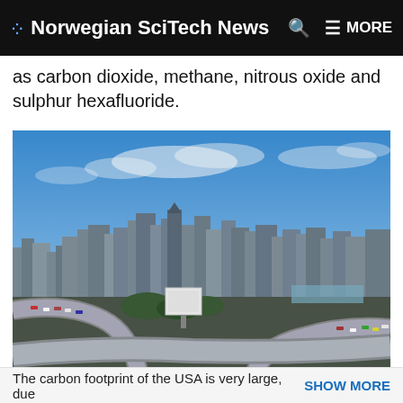Norwegian SciTech News  MORE
as carbon dioxide, methane, nitrous oxide and sulphur hexafluoride.
[Figure (photo): Aerial view of a busy city highway interchange with heavy traffic and a skyline of tall buildings in the background under a partly cloudy blue sky.]
The carbon footprint of the USA is very large, due  SHOW MORE